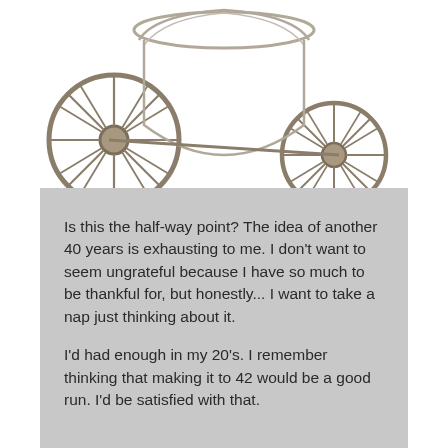[Figure (photo): A vintage or antique baby carriage / pram with spoke wheels, photographed against a white background, partially visible at top of page.]
Is this the half-way point?  The idea of another 40 years is exhausting to me.  I don't want to seem ungrateful because I have so much to be thankful for, but honestly... I want to take a nap just thinking about it.

I'd had enough in my 20's.  I remember thinking that making it to 42 would be a good run.  I'd be satisfied with that.